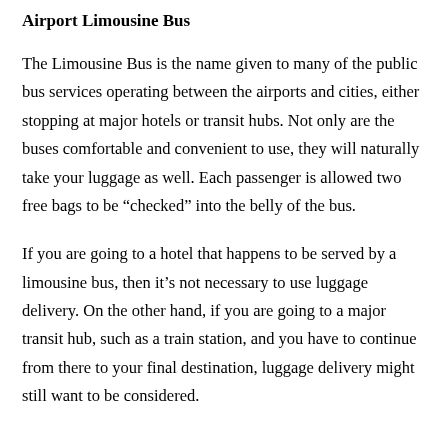Airport Limousine Bus
The Limousine Bus is the name given to many of the public bus services operating between the airports and cities, either stopping at major hotels or transit hubs. Not only are the buses comfortable and convenient to use, they will naturally take your luggage as well. Each passenger is allowed two free bags to be “checked” into the belly of the bus.
If you are going to a hotel that happens to be served by a limousine bus, then it’s not necessary to use luggage delivery. On the other hand, if you are going to a major transit hub, such as a train station, and you have to continue from there to your final destination, luggage delivery might still want to be considered.